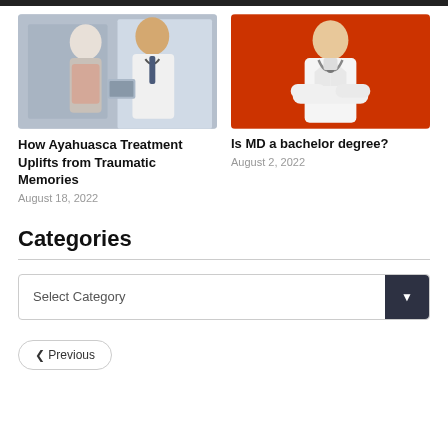[Figure (photo): Elderly woman and male doctor in white coat looking at a tablet together]
[Figure (photo): Male doctor in white coat with stethoscope, arms crossed, on orange background]
How Ayahuasca Treatment Uplifts from Traumatic Memories
August 18, 2022
Is MD a bachelor degree?
August 2, 2022
Categories
Select Category
❮ Previous